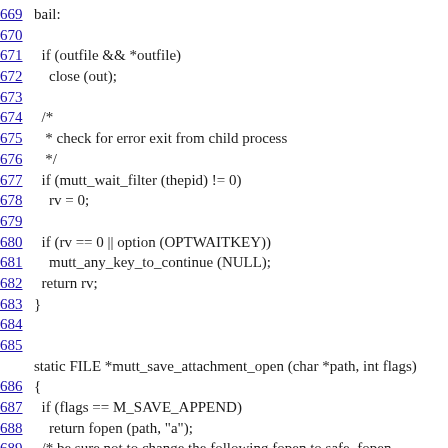669 bail:
670
671   if (outfile && *outfile)
672     close (out);
673
674   /*
675    * check for error exit from child process
676    */
677   if (mutt_wait_filter (thepid) != 0)
678     rv = 0;
679
680   if (rv == 0 || option (OPTWAITKEY))
681     mutt_any_key_to_continue (NULL);
682   return rv;
683 }
684
685
static FILE *mutt_save_attachment_open (char *path, int flags)
686 {
687   if (flags == M_SAVE_APPEND)
688     return fopen (path, "a");
689   /* be sure not to change the following fopen to safe_fopen
690    * as safe_fopen returns w/ an error if path exists
691    */
692   if (flags == M_SAVE_OVERWRITE)